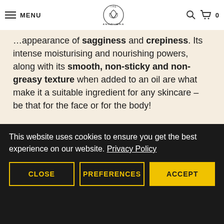MENU | The Ayurveda Experience | Search | Cart 0
appearance of sagginess and crepiness. Its intense moisturising and nourishing powers, along with its smooth, non-sticky and non-greasy texture when added to an oil are what make it a suitable ingredient for any skincare – be that for the face or for the body!
SESAME OIL
This website uses cookies to ensure you get the best experience on our website. Privacy Policy
CLOSE   PREFERENCES   ACCEPT